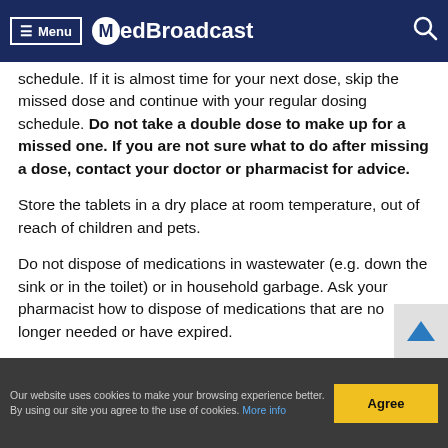MedBroadcast
schedule. If it is almost time for your next dose, skip the missed dose and continue with your regular dosing schedule. Do not take a double dose to make up for a missed one. If you are not sure what to do after missing a dose, contact your doctor or pharmacist for advice.
Store the tablets in a dry place at room temperature, out of reach of children and pets.
Do not dispose of medications in wastewater (e.g. down the sink or in the toilet) or in household garbage. Ask your pharmacist how to dispose of medications that are no longer needed or have expired.
Our website uses cookies to make your browsing experience better. By using our site you agree to the use of cookies. More info